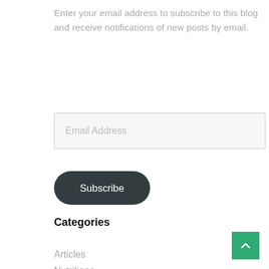Enter your email address to subscribe to this blog and receive notifications of new posts by email.
Email Address
Subscribe
Categories
Articles
Nutritions
Reviews
Sex Toys
Supplements